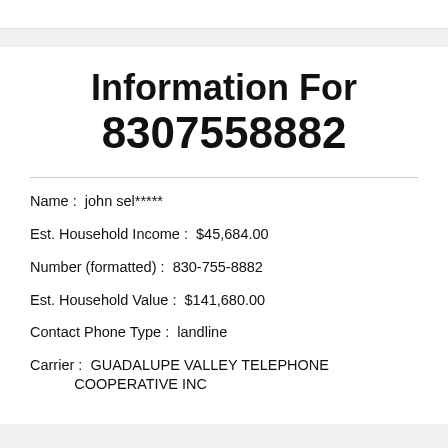Information For 8307558882
Name: john sel*****
Est. Household Income: $45,684.00
Number (formatted): 830-755-8882
Est. Household Value: $141,680.00
Contact Phone Type: landline
Carrier: GUADALUPE VALLEY TELEPHONE COOPERATIVE INC